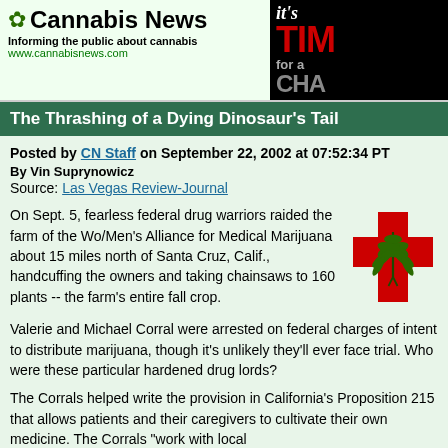Cannabis News — Informing the public about cannabis — www.cannabisnews.com
The Thrashing of a Dying Dinosaur's Tail
Posted by CN Staff on September 22, 2002 at 07:52:34 PT
By Vin Suprynowicz
Source: Las Vegas Review-Journal
On Sept. 5, fearless federal drug warriors raided the farm of the Wo/Men's Alliance for Medical Marijuana about 15 miles north of Santa Cruz, Calif., handcuffing the owners and taking chainsaws to 160 plants -- the farm's entire fall crop.
[Figure (illustration): Red medical cross symbol with cannabis leaf overlay]
Valerie and Michael Corral were arrested on federal charges of intent to distribute marijuana, though it's unlikely they'll ever face trial. Who were these particular hardened drug lords?
The Corrals helped write the provision in California's Proposition 215 that allows patients and their caregivers to cultivate their own medicine. The Corrals "work with local